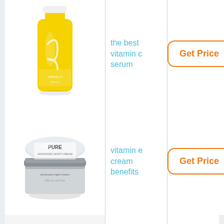[Figure (photo): Yellow vitamin C serum bottle with white cap and swirling 'S' logo design]
the best vitamin c serum
Get Price
[Figure (photo): Silver luxury cream jar labeled PURE with circular lid]
vitamin e cream benefits
Get Price
[Figure (photo): Partially visible product at bottom of page]